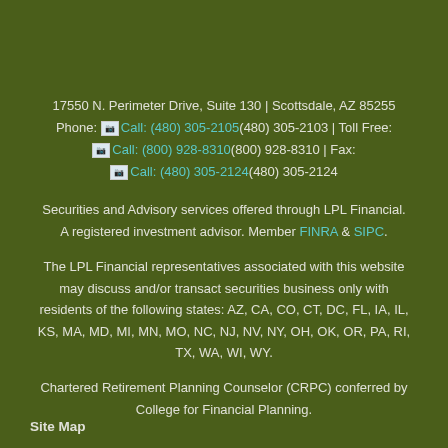17550 N. Perimeter Drive, Suite 130 | Scottsdale, AZ 85255
Phone: [icon]Call: (480) 305-2105(480) 305-2103 | Toll Free:
[icon]Call: (800) 928-8310(800) 928-8310 | Fax:
[icon]Call: (480) 305-2124(480) 305-2124
Securities and Advisory services offered through LPL Financial. A registered investment advisor. Member FINRA & SIPC.
The LPL Financial representatives associated with this website may discuss and/or transact securities business only with residents of the following states: AZ, CA, CO, CT, DC, FL, IA, IL, KS, MA, MD, MI, MN, MO, NC, NJ, NV, NY, OH, OK, OR, PA, RI, TX, WA, WI, WY.
Chartered Retirement Planning Counselor (CRPC) conferred by College for Financial Planning.
Site Map